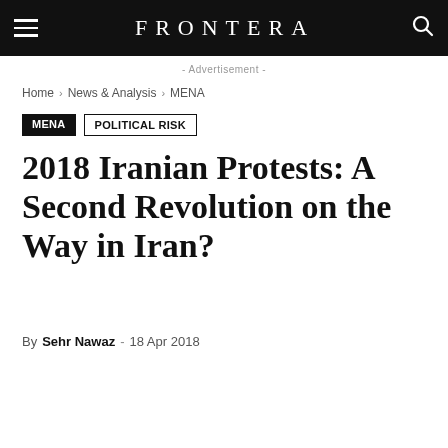FRONTERA
- Advertisement -
Home › News & Analysis › MENA
MENA
Political Risk
2018 Iranian Protests: A Second Revolution on the Way in Iran?
By Sehr Nawaz - 18 Apr 2018